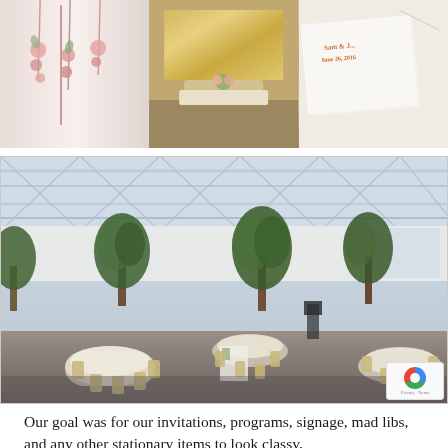[Figure (photo): Three wedding detail photos side by side: left shows pink floral draping/hanging flowers against white backdrop, center shows a sweetheart/head table with gold sequin backdrop, right shows a wedding invitation card with 'Sam & J...' and 'June 26, 2016' in copper/rose gold text]
[Figure (photo): Large wedding reception hall photo showing a bright venue with white exposed steel truss ceiling, tall potted trees as centerpieces, round tables with white linens and gold chiavari chairs, patterned carpet floor, white draping along walls]
Our goal was for our invitations, programs, signage, mad libs, and any other stationary items to look classy,